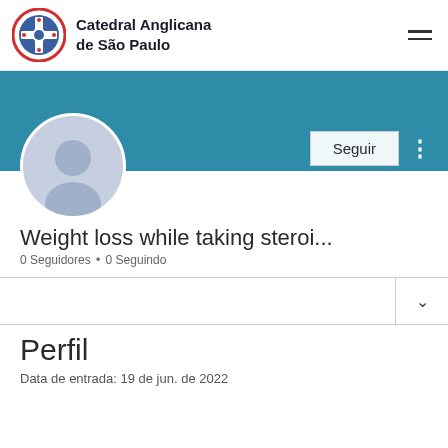Catedral Anglicana de São Paulo
[Figure (screenshot): User profile page screenshot showing a teal banner, a default avatar, a Seguir (Follow) button, username 'Weight loss while taking steroi...', 0 Seguidores, 0 Seguindo, and a Perfil section with Data de entrada: 19 de jun. de 2022]
Weight loss while taking steroi...
0 Seguidores • 0 Seguindo
Perfil
Data de entrada: 19 de jun. de 2022